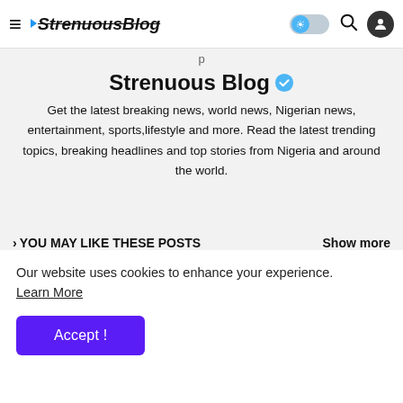StrenuousBlog — navigation bar with hamburger menu, logo, toggle, search, and user icon
p
Strenuous Blog ✓
Get the latest breaking news, world news, Nigerian news, entertainment, sports,lifestyle and more. Read the latest trending topics, breaking headlines and top stories from Nigeria and around the world.
> YOU MAY LIKE THESE POSTS
Show more
[Figure (other): Loading spinner arc (partial circle)]
Our website uses cookies to enhance your experience. Learn More
Accept !